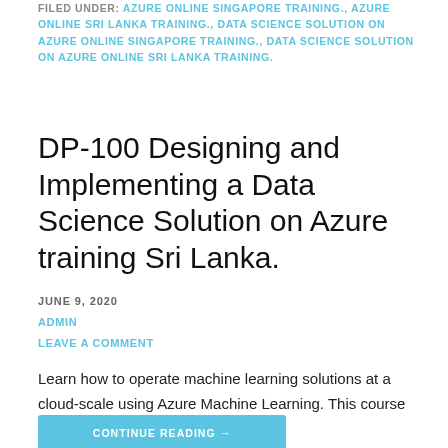FILED UNDER: AZURE ONLINE SINGAPORE TRAINING., AZURE ONLINE SRI LANKA TRAINING., DATA SCIENCE SOLUTION ON AZURE ONLINE SINGAPORE TRAINING., DATA SCIENCE SOLUTION ON AZURE ONLINE SRI LANKA TRAINING.
DP-100 Designing and Implementing a Data Science Solution on Azure training Sri Lanka.
JUNE 9, 2020
ADMIN
LEAVE A COMMENT
Learn how to operate machine learning solutions at a cloud-scale using Azure Machine Learning. This course teaches you to leverage...
CONTINUE READING →